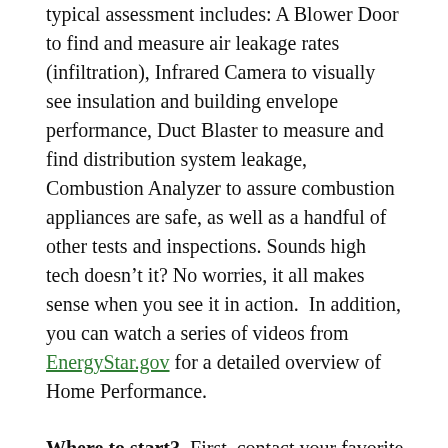typical assessment includes: A Blower Door to find and measure air leakage rates (infiltration), Infrared Camera to visually see insulation and building envelope performance, Duct Blaster to measure and find distribution system leakage, Combustion Analyzer to assure combustion appliances are safe, as well as a handful of other tests and inspections. Sounds high tech doesn't it? No worries, it all makes sense when you see it in action. In addition, you can watch a series of videos from EnergyStar.gov for a detailed overview of Home Performance.
Where to start? First, contact your favorite Home Performance “doctor” and arrange for a comprehensive analysis. You can expect to pay anywhere from $199 to $599 and up, but make sure you find a qualified contractor to assure a thorough job. A good contractor should at least adhere to the Building Performance Institute guidelines. Remember, a good Home Performance contractor does more than just evaluate